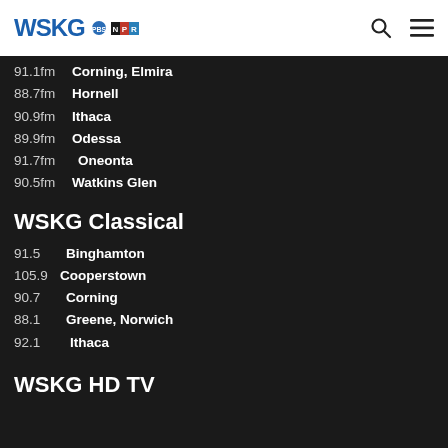WSKG PBS NPR
91.1fm  Corning, Elmira
88.7fm  Hornell
90.9fm  Ithaca
89.9fm  Odessa
91.7fm   Oneonta
90.5fm  Watkins Glen
WSKG Classical
91.5    Binghamton
105.9  Cooperstown
90.7    Corning
88.1    Greene, Norwich
92.1    Ithaca
WSKG HD TV